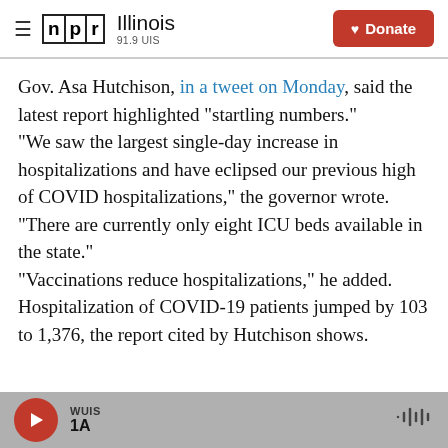NPR Illinois 91.9 UIS | Donate
Gov. Asa Hutchison, in a tweet on Monday, said the latest report highlighted "startling numbers."
"We saw the largest single-day increase in hospitalizations and have eclipsed our previous high of COVID hospitalizations," the governor wrote. "There are currently only eight ICU beds available in the state."
"Vaccinations reduce hospitalizations," he added.
Hospitalization of COVID-19 patients jumped by 103 to 1,376, the report cited by Hutchison shows.
WUIS 1A